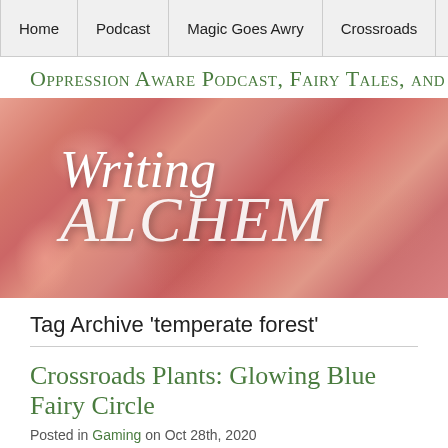Home | Podcast | Magic Goes Awry | Crossroads | Fai…
Oppression Aware Podcast, Fairy Tales, and G…
[Figure (illustration): Writing Alchemy blog banner: red-pink textured background resembling skin or organic material, with white italic text 'Writing' and 'ALCHEM' (partially cut off) in a decorative serif font]
Tag Archive 'temperate forest'
Crossroads Plants: Glowing Blue Fairy Circle
Posted in Gaming on Oct 28th, 2020